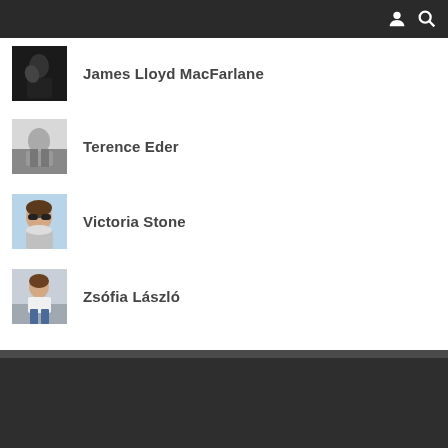James Lloyd MacFarlane
Terence Eder
Victoria Stone
Zsófia László